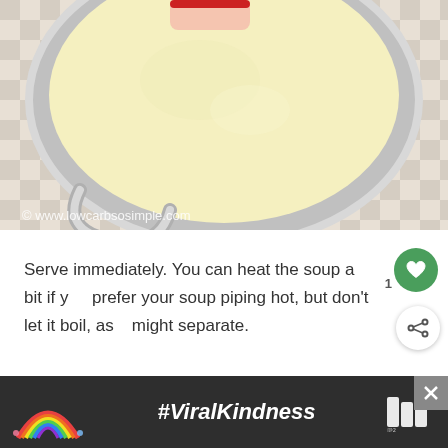[Figure (photo): Overhead view of a pot containing a creamy yellow soup, held by a hand with red nail polish, on a checkered tablecloth background. Watermark reads: © www.lowcarbsosimple.com]
Serve immediately. You can heat the soup a bit if you prefer your soup piping hot, but don't let it boil, as it might separate.
[Figure (photo): Partial view of a second food photo at the bottom of the page, partially obscured by an advertisement banner.]
[Figure (screenshot): Advertisement banner with dark background showing a rainbow illustration and the text #ViralKindness, with a close button (X) and a logo on the right.]